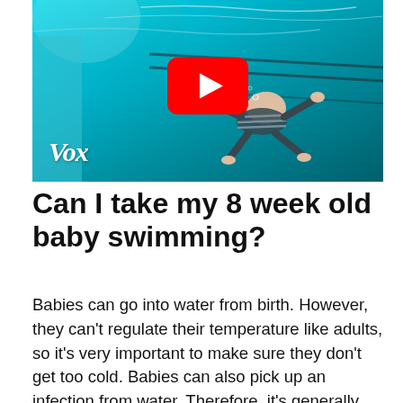[Figure (screenshot): YouTube video thumbnail showing a baby swimming underwater in a pool with a teal/cyan color. A large red YouTube play button is centered on the image. The Vox logo appears in white italic text at the bottom left.]
Can I take my 8 week old baby swimming?
Babies can go into water from birth. However, they can't regulate their temperature like adults, so it's very important to make sure they don't get too cold. Babies can also pick up an infection from water. Therefore, it's generally best to